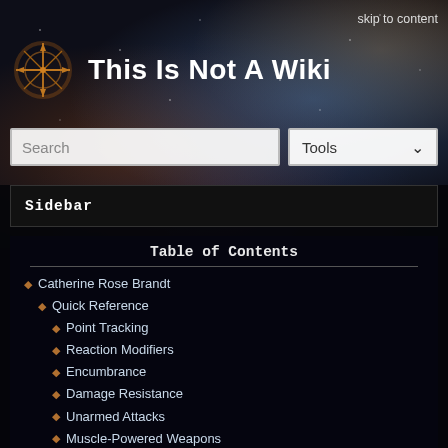skip to content
This Is Not A Wiki
Search
Tools
Sidebar
Table of Contents
Catherine Rose Brandt
Quick Reference
Point Tracking
Reaction Modifiers
Encumbrance
Damage Resistance
Unarmed Attacks
Muscle-Powered Weapons
Ranged Weapons
Character Sheet
Attributes & Secondary Characteristics